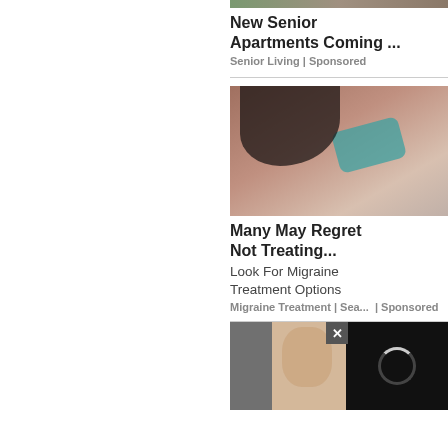[Figure (photo): Partial photo of senior apartments or outdoor scene, cropped at top]
New Senior Apartments Coming ...
Senior Living | Sponsored
[Figure (photo): Woman lying down with ice/gel pack over her eyes, holding it with one hand, wearing white shirt, wood panel headboard behind]
Many May Regret Not Treating...
Look For Migraine Treatment Options
Migraine Treatment | Sea... | Sponsored
[Figure (photo): Partial bottom image showing woman's face partially visible, with dark overlay and loading spinner, and close X button]